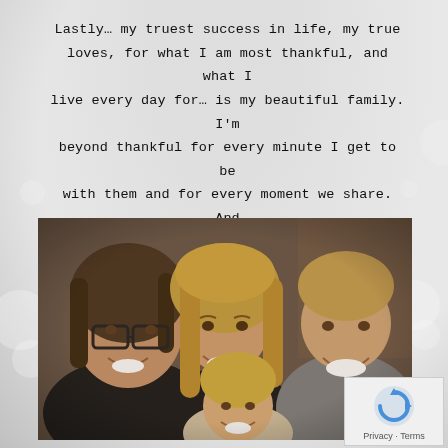Lastly… my truest success in life, my true loves, for what I am most thankful, and what I live every day for… is my beautiful family. I'm beyond thankful for every minute I get to be with them and for every moment we share. And since we can't find the time to take decent family photos, this selfie will have to do…
[Figure (photo): A family selfie showing four people: a man with glasses and long hair, a woman with long blonde hair, a young boy, and a young girl in the front center, all smiling.]
Privacy · Terms